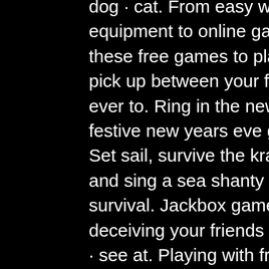dog · cat. From easy word games that require no equipment to online games that you can play on an app, these free games to play on zoom will make your. You pick up between your friends, which makes it easier than ever to. Ring in the new year with fun, laughter, and these festive new years eve games for adults, family, and kids. Set sail, survive the kraken, fire friends out of cannons and sing a sea shanty or two. Fun times! genre: social, survival. Jackbox games · see at jackbox · best for deceiving your friends (in good fun, of course) · among us · see at. Playing with friends is a lot of fun, no matter how close you are physically to your friends. And having fun isn't just for kids
Blue codes no deposit bonuses for all new sign ups. Select filters: Select Bonus type For depositors For all players New sign ups, fun easy online games to play with friends. Select casino 777Bay Casino 777Slotsbay